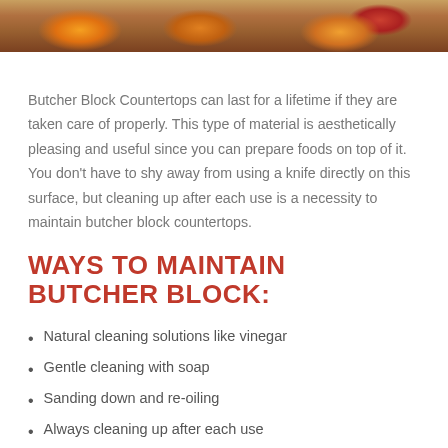[Figure (photo): Photo of sliced blood oranges and citrus fruits on a wooden surface, showing orange and red flesh tones]
Butcher Block Countertops can last for a lifetime if they are taken care of properly. This type of material is aesthetically pleasing and useful since you can prepare foods on top of it. You don't have to shy away from using a knife directly on this surface, but cleaning up after each use is a necessity to maintain butcher block countertops.
WAYS TO MAINTAIN BUTCHER BLOCK:
Natural cleaning solutions like vinegar
Gentle cleaning with soap
Sanding down and re-oiling
Always cleaning up after each use
Oil your butcher block